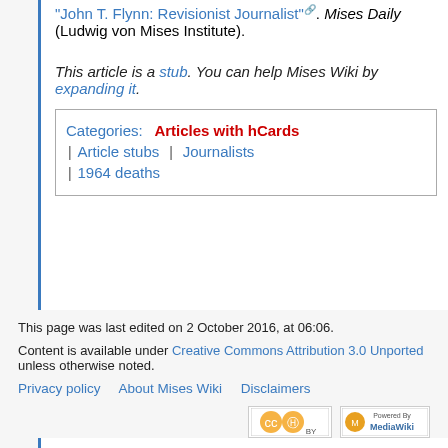"John T. Flynn: Revisionist Journalist" [external link]. Mises Daily (Ludwig von Mises Institute).
This article is a stub. You can help Mises Wiki by expanding it.
| Categories |
| --- |
| Articles with hCards | Article stubs | Journalists | 1964 deaths |
This page was last edited on 2 October 2016, at 06:06.
Content is available under Creative Commons Attribution 3.0 Unported unless otherwise noted.
Privacy policy | About Mises Wiki | Disclaimers